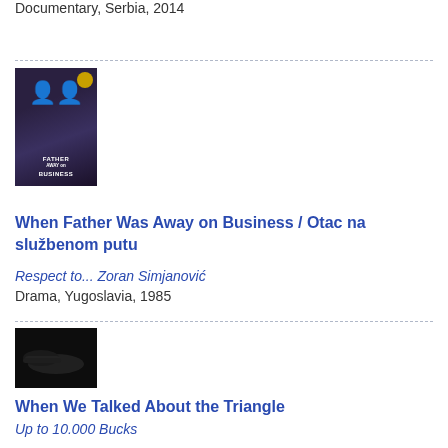Documentary, Serbia, 2014
[Figure (photo): Movie poster for 'When Father Was Away on Business' - dark background with figures and text]
When Father Was Away on Business / Otac na službenom putu
Respect to... Zoran Simjanović
Drama, Yugoslavia, 1985
[Figure (photo): Dark image showing what appears to be hands]
When We Talked About the Triangle
Up to 10.000 Bucks